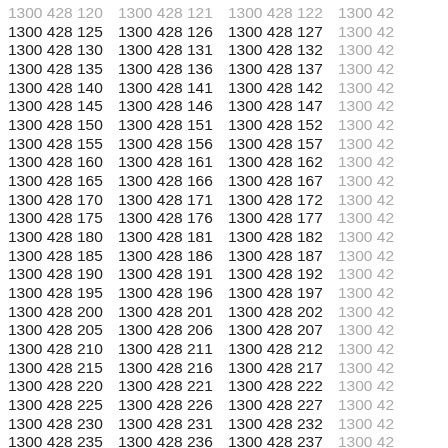Grid of phone numbers in format 1300 428 XXX, columns 1-4, rows from 120 to 237 in steps of 5. Fourth column is partially cut off showing '1300 42'.
| Col1 | Col2 | Col3 | Col4 |
| --- | --- | --- | --- |
| 1300 428 120 | 1300 428 121 | 1300 428 122 | 1300 42... |
| 1300 428 125 | 1300 428 126 | 1300 428 127 | 1300 42... |
| 1300 428 130 | 1300 428 131 | 1300 428 132 | 1300 42... |
| 1300 428 135 | 1300 428 136 | 1300 428 137 | 1300 42... |
| 1300 428 140 | 1300 428 141 | 1300 428 142 | 1300 42... |
| 1300 428 145 | 1300 428 146 | 1300 428 147 | 1300 42... |
| 1300 428 150 | 1300 428 151 | 1300 428 152 | 1300 42... |
| 1300 428 155 | 1300 428 156 | 1300 428 157 | 1300 42... |
| 1300 428 160 | 1300 428 161 | 1300 428 162 | 1300 42... |
| 1300 428 165 | 1300 428 166 | 1300 428 167 | 1300 42... |
| 1300 428 170 | 1300 428 171 | 1300 428 172 | 1300 42... |
| 1300 428 175 | 1300 428 176 | 1300 428 177 | 1300 42... |
| 1300 428 180 | 1300 428 181 | 1300 428 182 | 1300 42... |
| 1300 428 185 | 1300 428 186 | 1300 428 187 | 1300 42... |
| 1300 428 190 | 1300 428 191 | 1300 428 192 | 1300 42... |
| 1300 428 195 | 1300 428 196 | 1300 428 197 | 1300 42... |
| 1300 428 200 | 1300 428 201 | 1300 428 202 | 1300 42... |
| 1300 428 205 | 1300 428 206 | 1300 428 207 | 1300 42... |
| 1300 428 210 | 1300 428 211 | 1300 428 212 | 1300 42... |
| 1300 428 215 | 1300 428 216 | 1300 428 217 | 1300 42... |
| 1300 428 220 | 1300 428 221 | 1300 428 222 | 1300 42... |
| 1300 428 225 | 1300 428 226 | 1300 428 227 | 1300 42... |
| 1300 428 230 | 1300 428 231 | 1300 428 232 | 1300 42... |
| 1300 428 235 | 1300 428 236 | 1300 428 237 | 1300 42... |